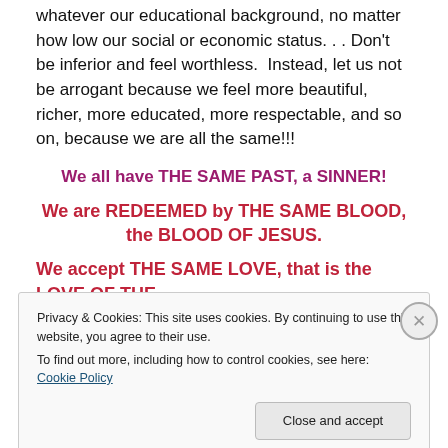whatever our educational background, no matter how low our social or economic status. . . Don't be inferior and feel worthless.  Instead, let us not be arrogant because we feel more beautiful, richer, more educated, more respectable, and so on, because we are all the same!!!
We all have THE SAME PAST, a SINNER!
We are REDEEMED by THE SAME BLOOD, the BLOOD OF JESUS.
We accept THE SAME LOVE, that is the LOVE OF THE
Privacy & Cookies: This site uses cookies. By continuing to use this website, you agree to their use.
To find out more, including how to control cookies, see here: Cookie Policy